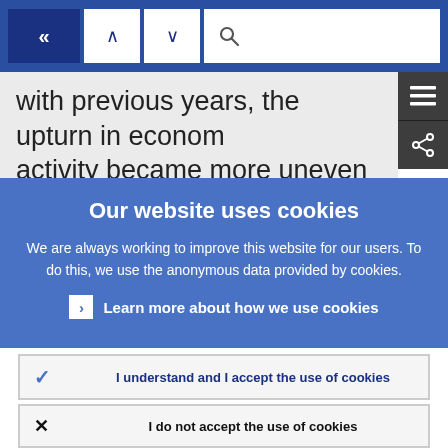[Figure (screenshot): Navigation bar with back button (<<), up/down arrows, and a search box]
with previous years, the upturn in economic activity became more uneven and less
Our website uses cookies
We are always working to improve this website for our users. To do this, we use the anonymous data provided by cookies.
Learn more about how we use cookies
I understand and I accept the use of cookies
I do not accept the use of cookies